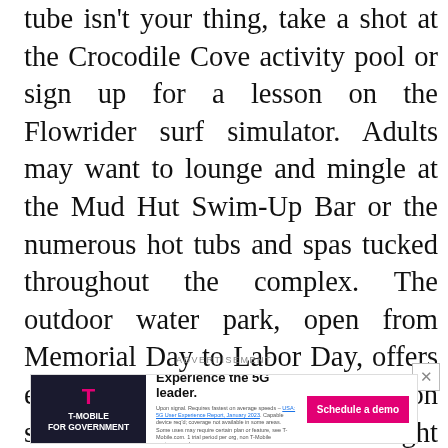tube isn't your thing, take a shot at the Crocodile Cove activity pool or sign up for a lesson on the Flowrider surf simulator. Adults may want to lounge and mingle at the Mud Hut Swim-Up Bar or the numerous hot tubs and spas tucked throughout the complex. The outdoor water park, open from Memorial Day to Labor Day, offers even more slides and recreation such as a water tree fort. Overnight guests of the accompanying resort receive complimentary access to the water parks, plus free towel rentals; adventure park admission costs extra. Day passes to each outlet are also sold individually.
ADVERTISEMENT
[Figure (screenshot): T-Mobile for Government advertisement banner. Left side has dark navy background with T-Mobile magenta T logo and text 'T-MOBILE FOR GOVERNMENT'. Middle section has headline 'Experience the 5G leader.' with fine print disclaimer text including a link. Right side has magenta button 'Schedule a demo'.]